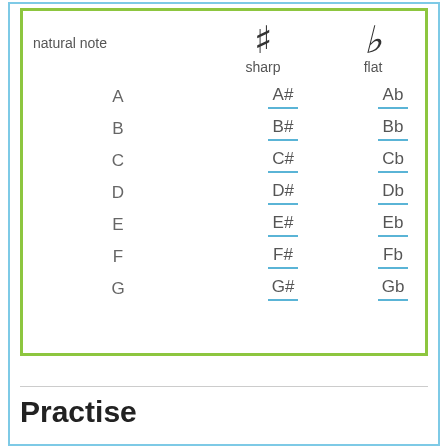| natural note | # | b |
| --- | --- | --- |
|  | sharp | flat |
| A | A# | Ab |
| B | B# | Bb |
| C | C# | Cb |
| D | D# | Db |
| E | E# | Eb |
| F | F# | Fb |
| G | G# | Gb |
Practise